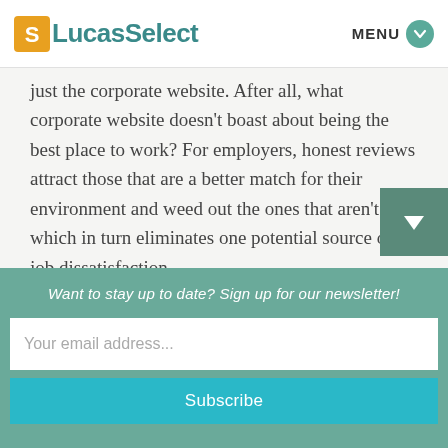LucasSelect | MENU
just the corporate website. After all, what corporate website doesn't boast about being the best place to work? For employers, honest reviews attract those that are a better match for their environment and weed out the ones that aren't which in turn eliminates one potential source of job dissatisfaction. On the negatives side, any vindictive ex-employee, competitor, or prankster
Want to stay up to date? Sign up for our newsletter!
Your email address...
Subscribe